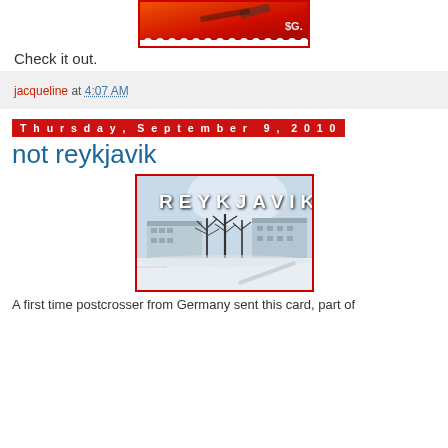[Figure (photo): Top portion of a postage stamp with red/orange colors and partial text showing '$G.' with perforated edges visible at bottom]
Check it out.
jacqueline at 4:07 AM
Thursday, September 9, 2010
not reykjavik
[Figure (photo): A postcard showing a snowy winter scene with bare trees and a large modern building, with 'REYKJAVIK' text overlaid at top in bold white letters]
A first time postcrosser from Germany sent this card, part of